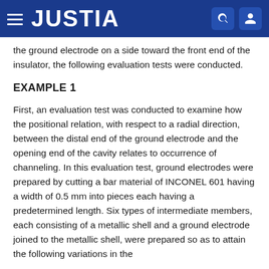JUSTIA
the ground electrode on a side toward the front end of the insulator, the following evaluation tests were conducted.
EXAMPLE 1
First, an evaluation test was conducted to examine how the positional relation, with respect to a radial direction, between the distal end of the ground electrode and the opening end of the cavity relates to occurrence of channeling. In this evaluation test, ground electrodes were prepared by cutting a bar material of INCONEL 601 having a width of 0.5 mm into pieces each having a predetermined length. Six types of intermediate members, each consisting of a metallic shell and a ground electrode joined to the metallic shell, were prepared so as to attain the following variations in the